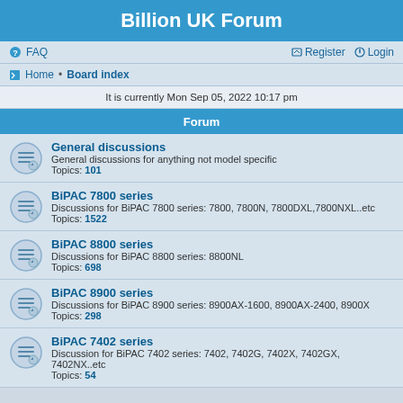Billion UK Forum
FAQ   Register   Login
Home · Board index
It is currently Mon Sep 05, 2022 10:17 pm
Forum
General discussions
General discussions for anything not model specific
Topics: 101
BiPAC 7800 series
Discussions for BiPAC 7800 series: 7800, 7800N, 7800DXL,7800NXL..etc
Topics: 1522
BiPAC 8800 series
Discussions for BiPAC 8800 series: 8800NL
Topics: 698
BiPAC 8900 series
Discussions for BiPAC 8900 series: 8900AX-1600, 8900AX-2400, 8900X
Topics: 298
BiPAC 7402 series
Discussion for BiPAC 7402 series: 7402, 7402G, 7402X, 7402GX, 7402NX..etc
Topics: 54